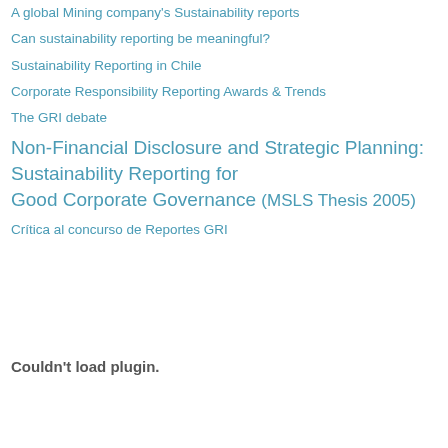A global Mining company's Sustainability reports
Can sustainability reporting be meaningful?
Sustainability Reporting in Chile
Corporate Responsibility Reporting Awards & Trends
The GRI debate
Non-Financial Disclosure and Strategic Planning: Sustainability Reporting for Good Corporate Governance (MSLS Thesis 2005)
Crítica al concurso de Reportes GRI
Couldn't load plugin.